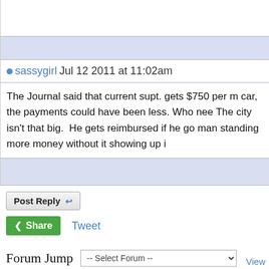sassygirl Jul 12 2011 at 11:02am
The Journal said that current supt. gets $750 per m car, the payments could have been less. Who nee The city isn't that big.  He gets reimbursed if he go man standing more money without it showing up i
Post Reply
Share   Tweet
Forum Jump  -- Select Forum --
View